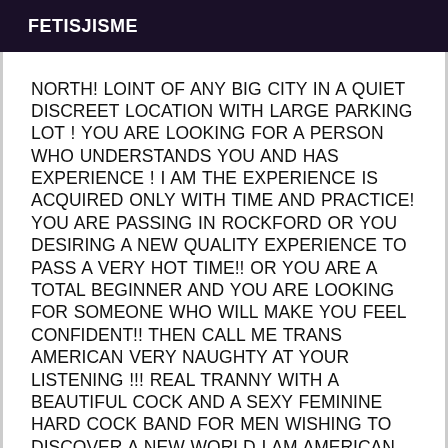FETISJISME
NORTH! LOINT OF ANY BIG CITY IN A QUIET DISCREET LOCATION WITH LARGE PARKING LOT ! YOU ARE LOOKING FOR A PERSON WHO UNDERSTANDS YOU AND HAS EXPERIENCE ! I AM THE EXPERIENCE IS ACQUIRED ONLY WITH TIME AND PRACTICE! YOU ARE PASSING IN Rockford OR YOU DESIRING A NEW QUALITY EXPERIENCE TO PASS A VERY HOT TIME!! OR YOU ARE A TOTAL BEGINNER AND YOU ARE LOOKING FOR SOMEONE WHO WILL MAKE YOU FEEL CONFIDENT!! THEN CALL ME TRANS AMERICAN VERY NAUGHTY AT YOUR LISTENING !!! REAL TRANNY WITH A BEAUTIFUL COCK AND A SEXY FEMININE HARD COCK BAND FOR MEN WISHING TO DISCOVER A NEW WORLD I AM AMERICAN WITH ME THERE IS THE POSSIBILITY TO HAVE A CONVERSATION BEFORE A MEETING AND TO ESTABLISH THE LEAST OF YOUR DESIRES WITH ME THERE IS NO TIME